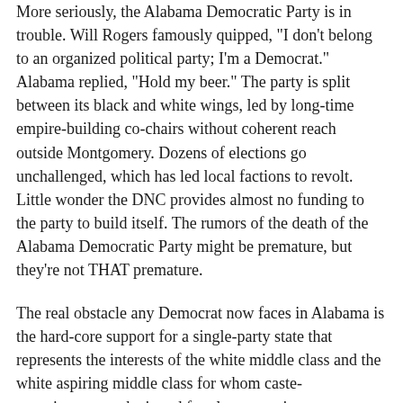More seriously, the Alabama Democratic Party is in trouble. Will Rogers famously quipped, "I don't belong to an organized political party; I'm a Democrat." Alabama replied, "Hold my beer." The party is split between its black and white wings, led by long-time empire-building co-chairs without coherent reach outside Montgomery. Dozens of elections go unchallenged, which has led local factions to revolt. Little wonder the DNC provides almost no funding to the party to build itself. The rumors of the death of the Alabama Democratic Party might be premature, but they're not THAT premature.
The real obstacle any Democrat now faces in Alabama is the hard-core support for a single-party state that represents the interests of the white middle class and the white aspiring middle class for whom caste-consciousness substituted for class-consciousness. Moore supporters, and most Alabama Republicans, are the progeny of the Dixiecrats who morphed into the Wallaceites of "Segregation Forever" and "stand-in-the-schoolhouse-door" fame who then morphed into the Reagan Democrats and beyond. The transformation was complete when Democrats lost their last statewide office with the resignation of Sue Bell Cobb as Chief Justice.